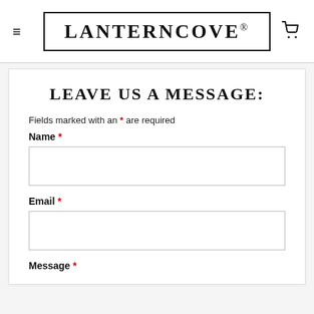LANTERNCOVE®
LEAVE US A MESSAGE:
Fields marked with an * are required
Name *
Email *
Message *